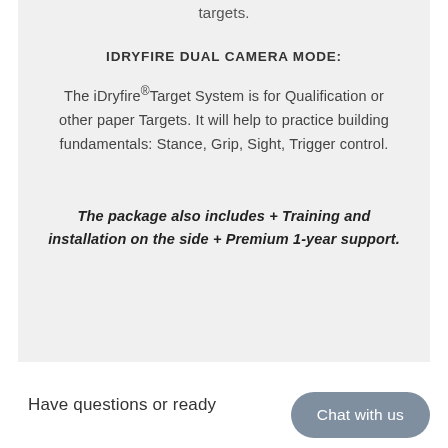targets.
IDRYFIRE DUAL CAMERA MODE:
The iDryfire®Target System is for Qualification or other paper Targets. It will help to practice building fundamentals: Stance, Grip, Sight, Trigger control.
The package also includes + Training and installation on the side + Premium 1-year support.
Have questions or ready